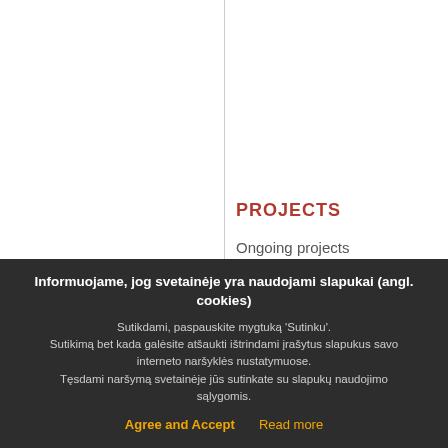PROJECTS
Ongoing projects
Implemented projects
Clusters
Informuojame, jog svetainėje yra naudojami slapukai (angl. cookies)
Sutikdami, paspauskite mygtuką 'Sutinku'. Sutikimą bet kada galėsite atšaukti ištrindami įrašytus slapukus savo interneto naršyklės nustatymuose. Tęsdami naršymą svetainėje jūs sutinkate su slapukų naudojimo sąlygomis.
Agree and Accept   Read more